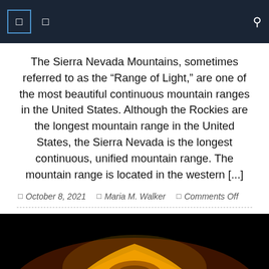Navigation header with icons and search
The Sierra Nevada Mountains, sometimes referred to as the “Range of Light,” are one of the most beautiful continuous mountain ranges in the United States. Although the Rockies are the longest mountain range in the United States, the Sierra Nevada is the longest continuous, unified mountain range. The mountain range is located in the western [...]
October 8, 2021   Maria M. Walker   Comments Off
[Figure (photo): Infrared or false-color satellite/radar image of a mountain or volcanic formation against a black background, showing warm orange and yellow tones highlighting the terrain relief.]